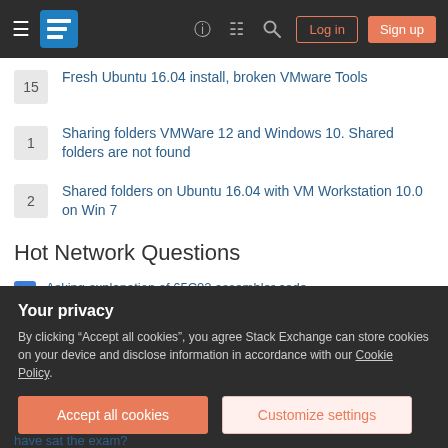Stack Exchange navigation bar with Log in and Sign up buttons
15 — Fresh Ubuntu 16.04 install, broken VMware Tools
1 — Sharing folders VMWare 12 and Windows 10. Shared folders are not found
2 — Shared folders on Ubuntu 16.04 with VM Workstation 10.0 on Win 7
Hot Network Questions
Asking explanation of 65C02 assembler code
How to write a CV and behave in a job interview if you don't fully qualify for the job offer
Mobile Push Contact Key Resolve (partially visible)
Your privacy
By clicking "Accept all cookies", you agree Stack Exchange can store cookies on your device and disclose information in accordance with our Cookie Policy.
have sat the exam? (partially visible)